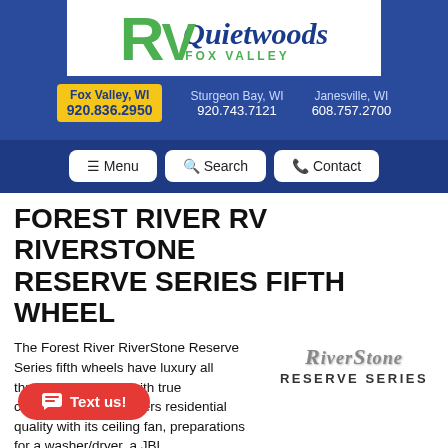[Figure (logo): Quietwoods RV Fox Valley logo with green RV letters and blue italic Quietwoods text]
Fox Valley, WI 920.836.2950   Sturgeon Bay, WI 920.743.7121   Janesville, WI 608.757.2700
≡ Menu   🔍 Search   📞 Contact
FOREST RIVER RV RIVERSTONE RESERVE SERIES FIFTH WHEEL
The Forest River RiverStone Reserve Series fifth wheels have luxury all throughout starting with true craftsmanship that offers residential quality with its ceiling fan, preparations for a washer/dryer, a JBL
[Figure (logo): RiverStone Reserve Series logo in italic silver text]